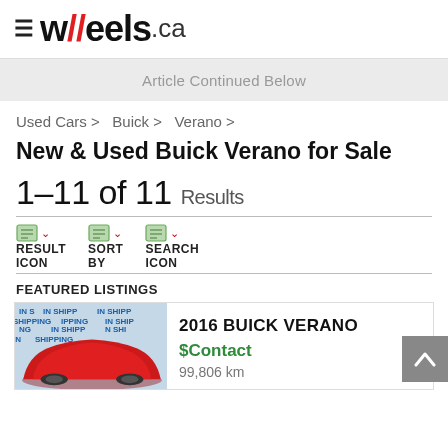[Figure (logo): wheels.ca logo with hamburger menu icon and red double slash in the wordmark]
Article Continued Below
Used Cars > Buick > Verano >
New & Used Buick Verano for Sale
1-11 of 11 Results
RESULT ICON  SORT BY  SEARCH ICON
FEATURED LISTINGS
[Figure (photo): Red car covered with cloth, with IN SHIPPING watermark text overlaid]
2016 BUICK VERANO
$Contact
99,806 km